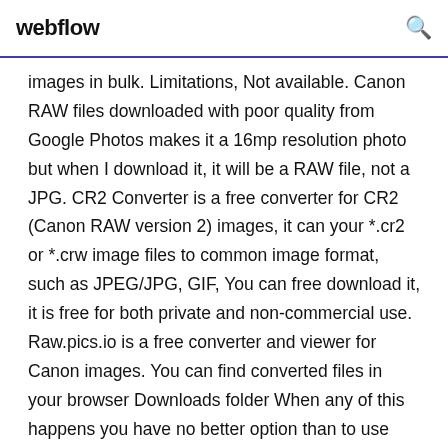webflow
images in bulk. Limitations, Not available. Canon RAW files downloaded with poor quality from Google Photos makes it a 16mp resolution photo but when I download it, it will be a RAW file, not a JPG. CR2 Converter is a free converter for CR2 (Canon RAW version 2) images, it can your *.cr2 or *.crw image files to common image format, such as JPEG/JPG, GIF, You can free download it, it is free for both private and non-commercial use. Raw.pics.io is a free converter and viewer for Canon images. You can find converted files in your browser Downloads folder When any of this happens you have no better option than to use raw.pics.io,